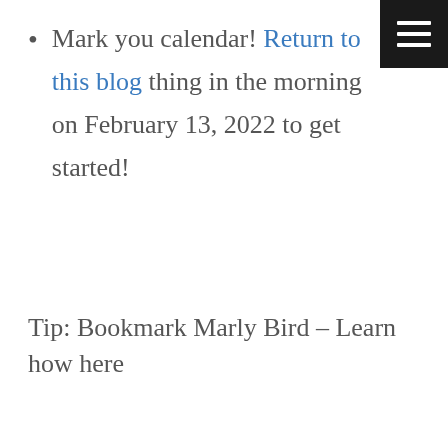Mark you calendar! Return to this blog thing in the morning on February 13, 2022 to get started!
Tip: Bookmark Marly Bird – Learn how here